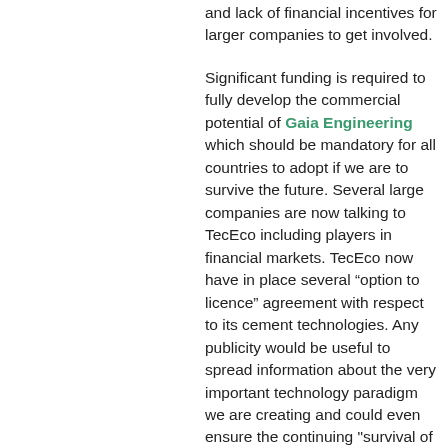and lack of financial incentives for larger companies to get involved.
Significant funding is required to fully develop the commercial potential of Gaia Engineering which should be mandatory for all countries to adopt if we are to survive the future. Several large companies are now talking to TecEco including players in financial markets. TecEco now have in place several “option to licence” agreement with respect to its cement technologies. Any publicity would be useful to spread information about the very important technology paradigm we are creating and could even ensure the continuing "survival of our species".
As Gaia Engineering and in particular the TecEco technology